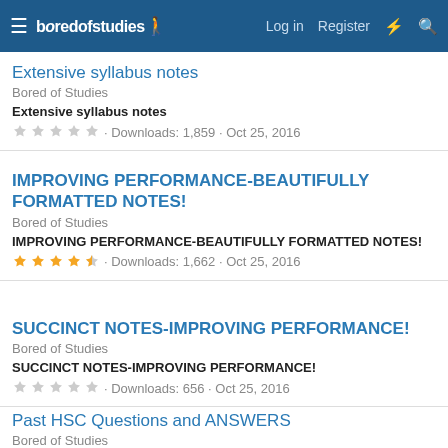boredofstudies | Log in | Register
Extensive syllabus notes
Bored of Studies
Extensive syllabus notes
Downloads: 1,859 · Oct 25, 2016
IMPROVING PERFORMANCE-BEAUTIFULLY FORMATTED NOTES!
Bored of Studies
IMPROVING PERFORMANCE-BEAUTIFULLY FORMATTED NOTES!
Downloads: 1,662 · Oct 25, 2016
SUCCINCT NOTES-IMPROVING PERFORMANCE!
Bored of Studies
SUCCINCT NOTES-IMPROVING PERFORMANCE!
Downloads: 656 · Oct 25, 2016
Past HSC Questions and ANSWERS
Bored of Studies
Past HSC Questions and ANSWERS